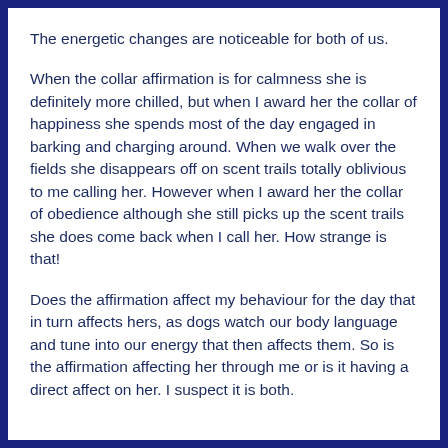The energetic changes are noticeable for both of us.
When the collar affirmation is for calmness she is definitely more chilled, but when I award her the collar of happiness she spends most of the day engaged in barking and charging around. When we walk over the fields she disappears off on scent trails totally oblivious to me calling her. However when I award her the collar of obedience although she still picks up the scent trails she does come back when I call her. How strange is that!
Does the affirmation affect my behaviour for the day that in turn affects hers, as dogs watch our body language and tune into our energy that then affects them. So is the affirmation affecting her through me or is it having a direct affect on her. I suspect it is both.